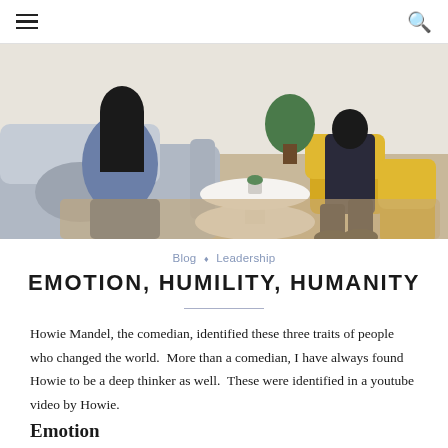≡  🔍
[Figure (photo): People sitting in a modern lounge area with grey sofas and yellow chairs around a white round table]
Blog ◇ Leadership
EMOTION, HUMILITY, HUMANITY
Howie Mandel, the comedian, identified these three traits of people who changed the world.  More than a comedian, I have always found Howie to be a deep thinker as well.  These were identified in a youtube video by Howie.
Emotion